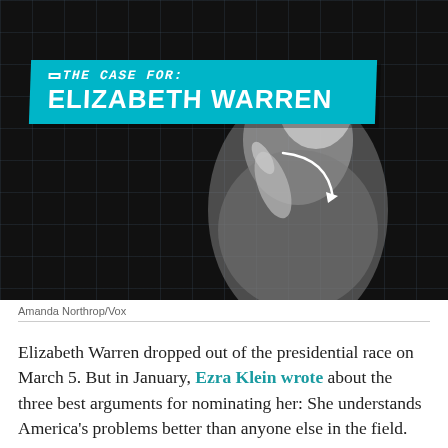[Figure (photo): Black and white photo of Elizabeth Warren speaking at a podium, with a cyan graphic banner overlay reading 'THE CASE FOR: ELIZABETH WARREN' with an arrow pointing to her, on a dark grid background.]
Amanda Northrop/Vox
Elizabeth Warren dropped out of the presidential race on March 5. But in January, Ezra Klein wrote about the three best arguments for nominating her: She understands America's problems better than anyone else in the field. She understands how to